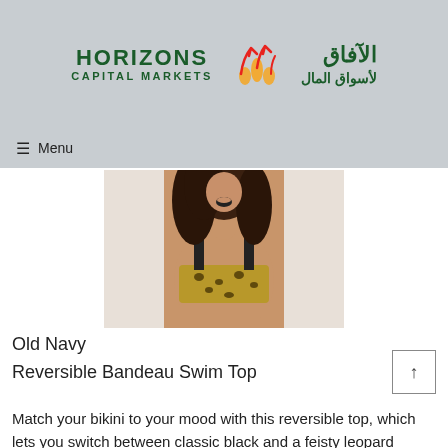[Figure (logo): Horizons Capital Markets logo with Arabic text and flame/arrow icon]
≡ Menu
[Figure (photo): Woman wearing a leopard print bandeau bikini top with black straps, leaning forward with curly hair]
Old Navy
Reversible Bandeau Swim Top
Match your bikini to your mood with this reversible top, which lets you switch between classic black and a feisty leopard